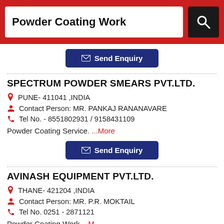Powder Coating Work
Send Enquiry
SPECTRUM POWDER SMEARS PVT.LTD.
PUNE- 411041 ,INDIA
Contact Person: MR. PANKAJ RANANAVARE
Tel No. - 8551802931 / 9158431109
Powder Coating Service. ...More
Send Enquiry
AVINASH EQUIPMENT PVT.LTD.
THANE- 421204 ,INDIA
Contact Person: MR. P.R. MOKTAIL
Tel No. 0251 - 2871121
Powder Coating Work ...More